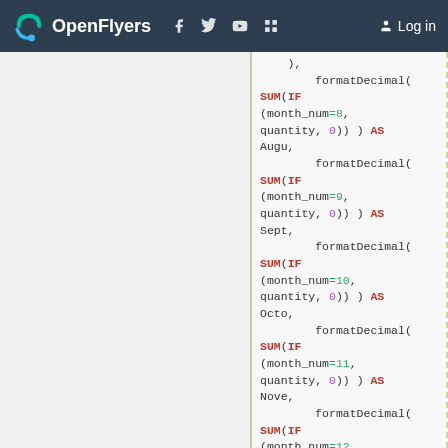OpenFlyers — Log in
Code snippet showing SQL-like formatDecimal(SUM(IF(month_num=8, quantity, 0))) AS Augu, formatDecimal(SUM(IF(month_num=9, quantity, 0))) AS Sept, formatDecimal(SUM(IF(month_num=10, quantity, 0))) AS Octo, formatDecimal(SUM(IF(month_num=11, quantity, 0))) AS Nove, formatDecimal(SUM(IF(month_num=12, quantity, 0))) AS Dece, formatDecimal(